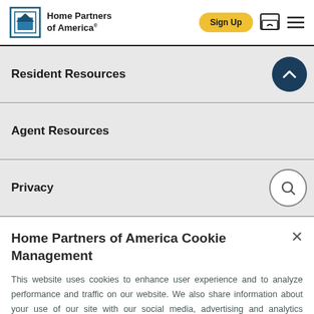Home Partners of America
Resident Resources
Agent Resources
Privacy
Home Partners of America Cookie Management
This website uses cookies to enhance user experience and to analyze performance and traffic on our website. We also share information about your use of our site with our social media, advertising and analytics partners.
Manage Cookies | Accept Cookies